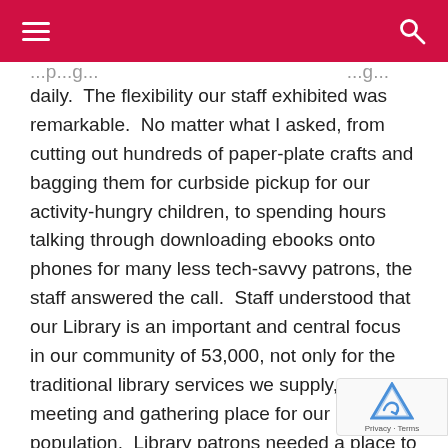[hamburger menu] [search icon]
daily.  The flexibility our staff exhibited was remarkable.  No matter what I asked, from cutting out hundreds of paper-plate crafts and bagging them for curbside pickup for our activity-hungry children, to spending hours talking through downloading ebooks onto phones for many less tech-savvy patrons, the staff answered the call.  Staff understood that our Library is an important and central focus in our community of 53,000, not only for the traditional library services we supply, but as a meeting and gathering place for our diverse population.  Library patrons needed a place to go; they needed computers to work on, and eventually they needed programs for all ages to give them some sense of normalcy.  At the same time that staff were serving our patrons at desks and in the stacks, they were coping with few visitors who did not agree with mask mandates and in